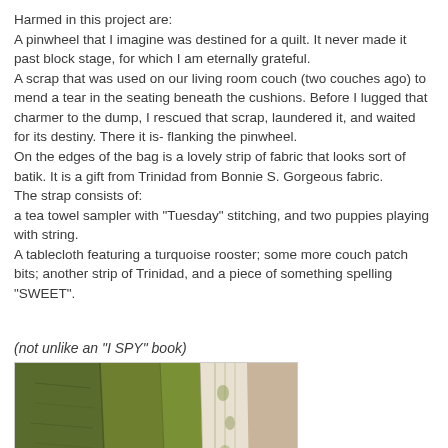Harmed in this project are:
A pinwheel that I imagine was destined for a quilt. It never made it past block stage, for which I am eternally grateful.
A scrap that was used on our living room couch (two couches ago) to mend a tear in the seating beneath the cushions. Before I lugged that charmer to the dump, I rescued that scrap, laundered it, and waited for its destiny. There it is- flanking the pinwheel.
On the edges of the bag is a lovely strip of fabric that looks sort of batik. It is a gift from Trinidad from Bonnie S. Gorgeous fabric.
The strap consists of:
a tea towel sampler with "Tuesday" stitching, and two puppies playing with string.
A tablecloth featuring a turquoise rooster; some more couch patch bits; another strip of Trinidad, and a piece of something spelling "SWEET".
(not unlike an "I SPY" book)
[Figure (photo): Photo of folded green and white fabric/textiles on a beige surface]